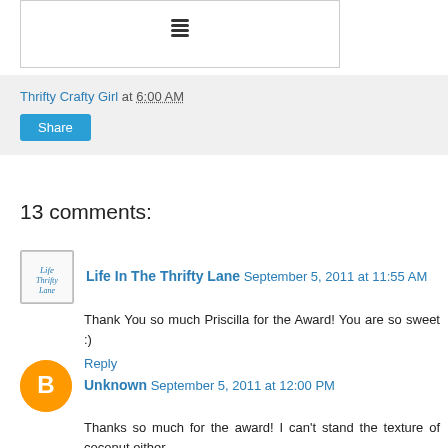[Figure (illustration): Small decorative icon at top of image area]
Thrifty Crafty Girl at 6:00 AM
Share
13 comments:
Life In The Thrifty Lane  September 5, 2011 at 11:55 AM
Thank You so much Priscilla for the Award! You are so sweet :)
Reply
Unknown  September 5, 2011 at 12:00 PM
Thanks so much for the award! I can't stand the texture of coconut either.
Reply